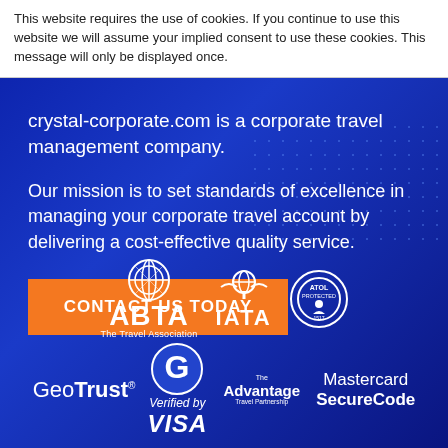This website requires the use of cookies. If you continue to use this website we will assume your implied consent to use these cookies. This message will only be displayed once.
crystal-corporate.com is a corporate travel management company.
Our mission is to set standards of excellence in managing your corporate travel account by delivering a cost-effective quality service.
CONTACT US TODAY
[Figure (logo): Trust and accreditation logos: ABTA The Travel Association, IATA, ATOL Protected, GeoTrust, Verified by VISA, The Advantage Travel Partnership, Mastercard SecureCode]